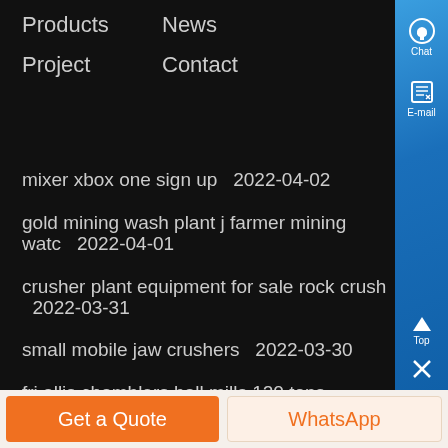Products
News
Project
Contact
mixer xbox one sign up  2022-04-02
gold mining wash plant j farmer mining watc  2022-04-01
crusher plant equipment for sale rock crush  2022-03-31
small mobile jaw crushers  2022-03-30
fri allis chamblers ball mills 120 tons  2022-03-29
Get a Quote
WhatsApp